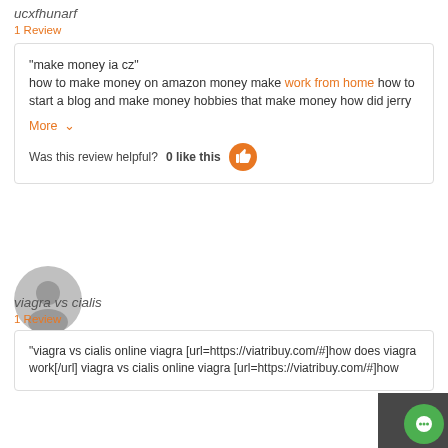ucxfhunarf
1 Review
"make money ia cz" how to make money on amazon money make work from home how to start a blog and make money hobbies that make money how did jerry
More ∨
Was this review helpful? 0 like this
[Figure (illustration): Gray circular avatar/profile placeholder icon]
viagra vs cialis
1 Review
"viagra vs cialis online viagra [url=https://viatribuy.com/#]how does viagra work[/url] viagra vs cialis online viagra [url=https://viatribuy.com/#]how